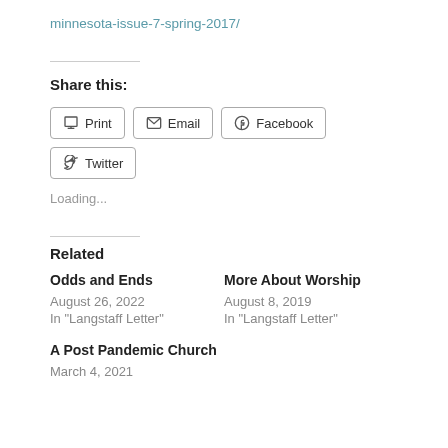minnesota-issue-7-spring-2017/
Share this:
Print | Email | Facebook | Twitter
Loading...
Related
Odds and Ends
August 26, 2022
In "Langstaff Letter"
More About Worship
August 8, 2019
In "Langstaff Letter"
A Post Pandemic Church
March 4, 2021